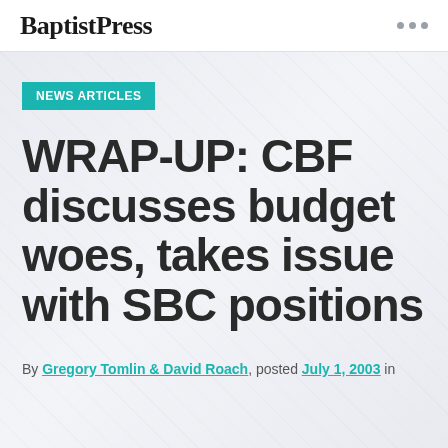BaptistPress
NEWS ARTICLES
WRAP-UP: CBF discusses budget woes, takes issue with SBC positions
By Gregory Tomlin & David Roach, posted July 1, 2003 in